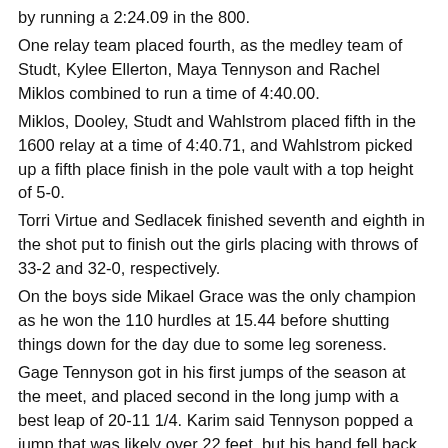by running a 2:24.09 in the 800.
One relay team placed fourth, as the medley team of Studt, Kylee Ellerton, Maya Tennyson and Rachel Miklos combined to run a time of 4:40.00.
Miklos, Dooley, Studt and Wahlstrom placed fifth in the 1600 relay at a time of 4:40.71, and Wahlstrom picked up a fifth place finish in the pole vault with a top height of 5-0.
Torri Virtue and Sedlacek finished seventh and eighth in the shot put to finish out the girls placing with throws of 33-2 and 32-0, respectively.
On the boys side Mikael Grace was the only champion as he won the 110 hurdles at 15.44 before shutting things down for the day due to some leg soreness.
Gage Tennyson got in his first jumps of the season at the meet, and placed second in the long jump with a best leap of 20-11 1/4. Karim said Tennyson popped a jump that was likely over 22 feet, but his hand fell back on his landing, making the jump shorter.
Miles Ellman picked up the boys’ lone third place finish, running the 1600 in 4:42.98. The team’s only individual fifth place finish came from Robbie Emery in the pole vault, with a top height of 12-6, which was a personal record.